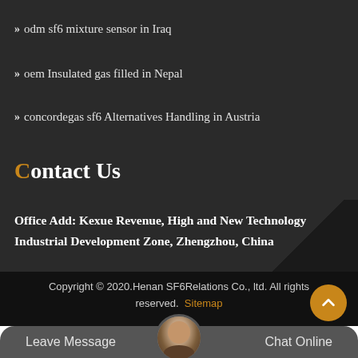odm sf6 mixture sensor in Iraq
oem Insulated gas filled in Nepal
concordegas sf6 Alternatives Handling in Austria
Contact Us
Office Add: Kexue Revenue, High and New Technology Industrial Development Zone, Zhengzhou, China
Copyright © 2020.Henan SF6Relations Co., ltd. All rights reserved. Sitemap
Leave Message
Chat Online